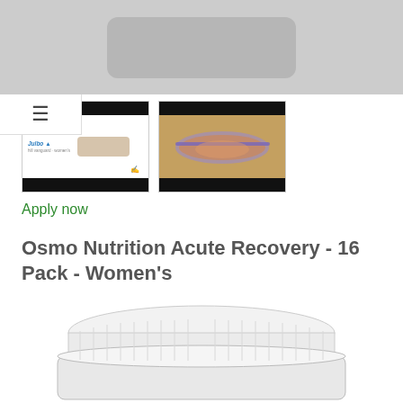[Figure (photo): Top product image area showing a dark rectangular device on gray background]
[Figure (photo): Thumbnail 1: Julbo sunglasses product listing with black header/footer bars and glasses image with logo]
[Figure (photo): Thumbnail 2: Julbo sporty sunglasses with orange/copper lenses on wooden background]
Apply now
Osmo Nutrition Acute Recovery - 16 Pack - Women's
[Figure (photo): White plastic jar/container with white lid, product container for Osmo Nutrition]